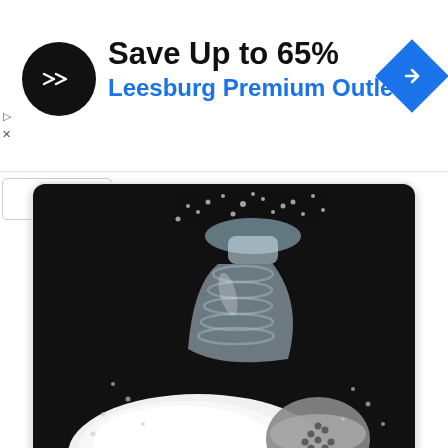[Figure (infographic): Advertisement banner: black circular logo with double arrow, 'Save Up to 65%' in bold black text, 'Leesburg Premium Outlets' in blue text, blue diamond navigation icon on right, small play and X icons on left edge.]
[Figure (photo): Photo of a glass salt shaker tipped over on a dark surface, with a pile of white salt spilled out and the silver metal cap lying beside it.]
მარილი
marili
tuz
[Figure (other): Empty white card/box at the bottom of the page, rounded corners, light gray border.]